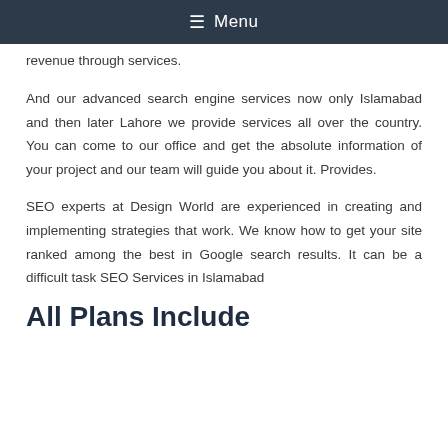≡ Menu
revenue through services.
And our advanced search engine services now only Islamabad and then later Lahore we provide services all over the country. You can come to our office and get the absolute information of your project and our team will guide you about it. Provides.
SEO experts at Design World are experienced in creating and implementing strategies that work. We know how to get your site ranked among the best in Google search results. It can be a difficult task SEO Services in Islamabad
All Plans Include